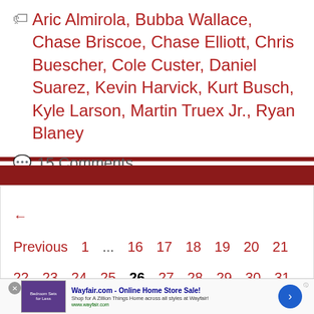Aric Almirola, Bubba Wallace, Chase Briscoe, Chase Elliott, Chris Buescher, Cole Custer, Daniel Suarez, Kevin Harvick, Kurt Busch, Kyle Larson, Martin Truex Jr., Ryan Blaney
15 Comments
← Previous  1  ...  16  17  18  19  20  21  22  23  24  25  26  27  28  29  30  31  32  33  34  35  36  ...  247  Next →
[Figure (screenshot): Wayfair.com advertisement banner: Online Home Store Sale! Shop for A Zillion Things Home across all styles at Wayfair! www.wayfair.com]